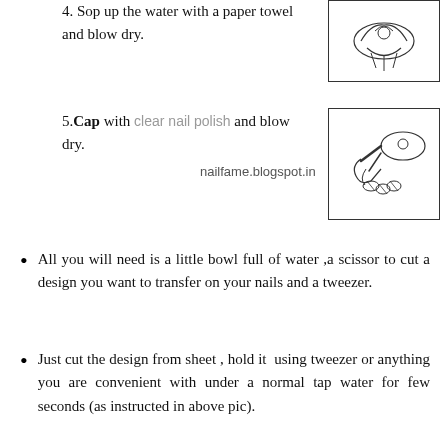4. Sop up the water with a paper towel and blow dry.
[Figure (illustration): Line drawing of hands performing nail art step 4 - drying nails with paper towel]
5. Cap with clear nail polish and blow dry.
[Figure (illustration): Line drawing of hands applying clear nail polish with blow dryer]
nailfame.blogspot.in
All you will need is a little bowl full of water ,a scissor to cut a design you want to transfer on your nails and a tweezer.
Just cut the design from sheet , hold it using tweezer or anything you are convenient with under a normal tap water for few seconds (as instructed in above pic).